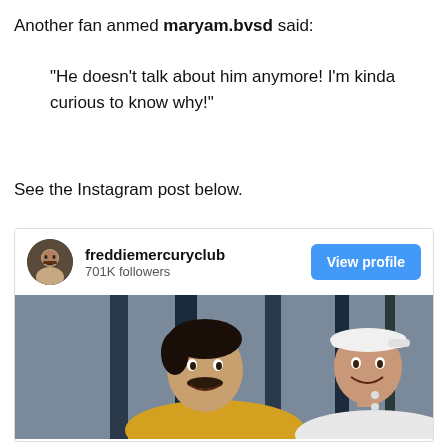Another fan anmed maryam.bvsd said:
“He doesn’t talk about him anymore! I’m kinda curious to know why!”
See the Instagram post below.
[Figure (screenshot): Instagram profile card for freddiemercuryclub with 701K followers and a View profile button, with a photo below showing two men smiling — one in a yellow tank top with a mustache, another in a white outfit with a white cap.]